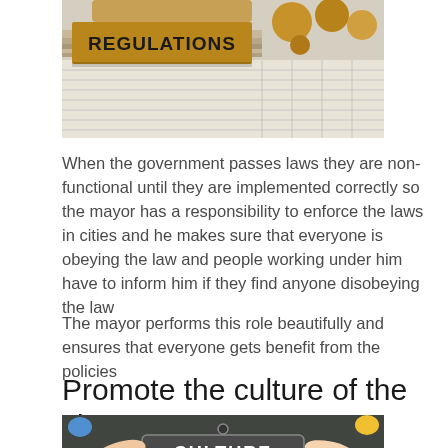[Figure (photo): A rubber stamp with the word REGULATIONS on a wooden handle, resting on stacked documents and papers, with wooden spheres in the background]
When the government passes laws they are non-functional until they are implemented correctly so the mayor has a responsibility to enforce the laws in cities and he makes sure that everyone is obeying the law and people working under him have to inform him if they find anyone disobeying the law
The mayor performs this role beautifully and ensures that everyone gets benefit from the policies
Promote the culture of the city
[Figure (photo): People gathered around a chalkboard sign that reads CULTURE, with hands pointing at it from various directions]